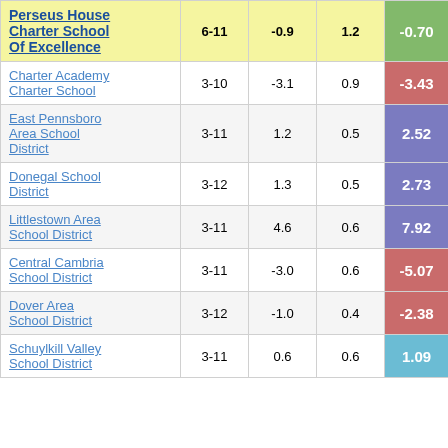| School/District | Grades | Col3 | Col4 | Score |
| --- | --- | --- | --- | --- |
| Perseus House Charter School Of Excellence | 6-11 | -0.9 | 1.2 | -0.70 |
| Charter Academy Charter School | 3-10 | -3.1 | 0.9 | -3.43 |
| East Pennsboro Area School District | 3-11 | 1.2 | 0.5 | 2.52 |
| Donegal School District | 3-12 | 1.3 | 0.5 | 2.73 |
| Littlestown Area School District | 3-11 | 4.6 | 0.6 | 7.92 |
| Central Cambria School District | 3-11 | -3.0 | 0.6 | -5.07 |
| Dover Area School District | 3-12 | -1.0 | 0.4 | -2.38 |
| Schuylkill Valley School District | 3-11 | 0.6 | 0.6 | 1.09 |